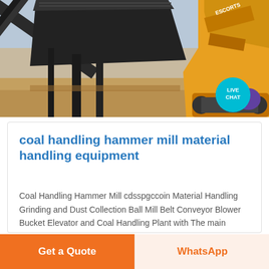[Figure (photo): Industrial coal handling or mining conveyor belt machinery on a construction/mining site with dirt ground, with a yellow excavator visible on the right side. A teal 'LIVE CHAT' badge overlays the top-right area of the image.]
coal handling hammer mill material handling equipment
Coal Handling Hammer Mill cdsspgccoin Material Handling Grinding and Dust Collection Ball Mill Belt Conveyor Blower Bucket Elevator and Coal Handling Plant with The main working part of hammer crusher is rotors with hammer the rotors 24 7 online ...
Get a Quote
WhatsApp